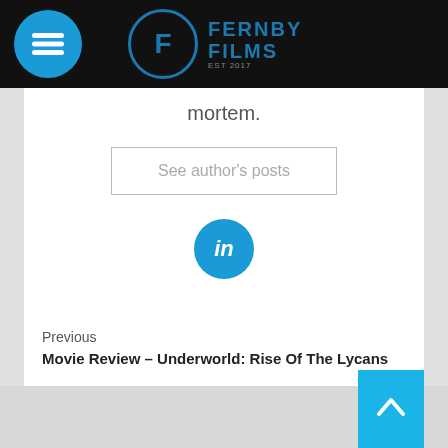Fernby Films
mortem.
See author's posts
[Figure (logo): LinkedIn blue circle icon with 'in' text]
Previous
Movie Review – Underworld: Rise Of The Lycans
Next
Movie Review – Charlie & Boots